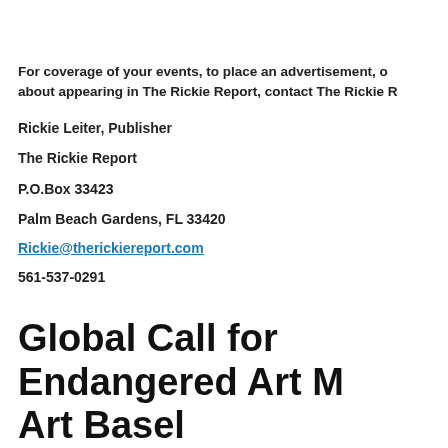For coverage of your events, to place an advertisement, or about appearing in The Rickie Report, contact The Rickie R...
Rickie Leiter, Publisher
The Rickie Report
P.O.Box 33423
Palm Beach Gardens, FL 33420
Rickie@therickiereport.com
561-537-0291
Global Call for Endangered Art ... Art Basel